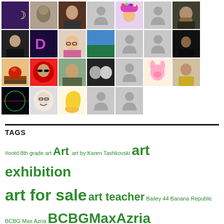[Figure (other): Grid of user avatar/profile photos, 8 columns × 4 rows, mix of photos and placeholder silhouette icons]
TAGS
#ootd 8th grade art Art art by Karen Tashkovski art exhibition art for sale art teacher Bailey 44 Banana Republic BCBG Max Azria BCBGMaxAzria Chittenango Middle School Chittenango NY Everson Museum of Art fashion fashion blogger Free People Karen Tashkovski